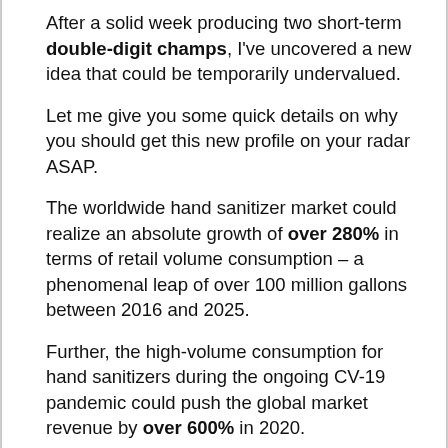After a solid week producing two short-term double-digit champs, I've uncovered a new idea that could be temporarily undervalued.
Let me give you some quick details on why you should get this new profile on your radar ASAP.
The worldwide hand sanitizer market could realize an absolute growth of over 280% in terms of retail volume consumption – a phenomenal leap of over 100 million gallons between 2016 and 2025.
Further, the high-volume consumption for hand sanitizers during the ongoing CV-19 pandemic could push the global market revenue by over 600% in 2020.
On accounts of recommendations by various global healthcare institutions such as the WHO